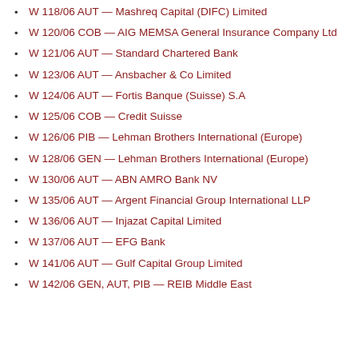W 118/06 AUT — Mashreq Capital (DIFC) Limited
W 120/06 COB — AIG MEMSA General Insurance Company Ltd
W 121/06 AUT — Standard Chartered Bank
W 123/06 AUT — Ansbacher & Co Limited
W 124/06 AUT — Fortis Banque (Suisse) S.A
W 125/06 COB — Credit Suisse
W 126/06 PIB — Lehman Brothers International (Europe)
W 128/06 GEN — Lehman Brothers International (Europe)
W 130/06 AUT — ABN AMRO Bank NV
W 135/06 AUT — Argent Financial Group International LLP
W 136/06 AUT — Injazat Capital Limited
W 137/06 AUT — EFG Bank
W 141/06 AUT — Gulf Capital Group Limited
W 142/06 GEN, AUT, PIB — REIB Middle East